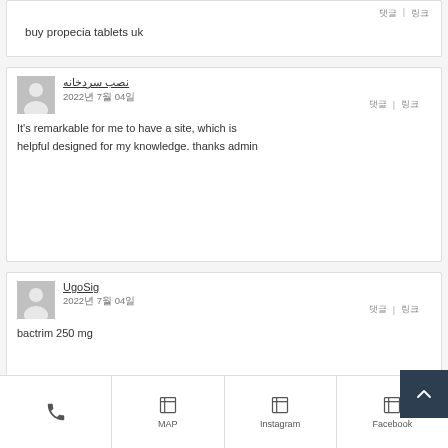buy propecia tablets uk
نصب سردخانه
2022년 7월 04일
It's remarkable for me to have a site, which is helpful designed for my knowledge. thanks admin
UgoSig
2022년 7월 04일
bactrim 250 mg
MAP | Instagram | Facebook